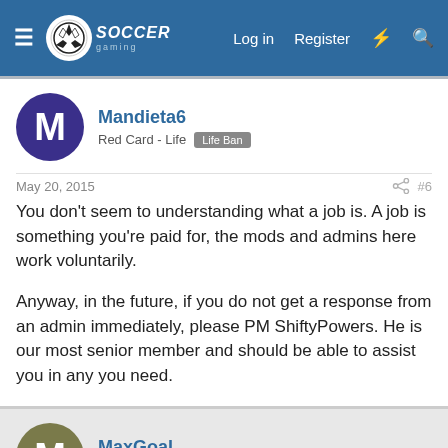Soccer Gaming — Log in | Register
Mandieta6
Red Card - Life | Life Ban
May 20, 2015 #6
You don't seem to understanding what a job is. A job is something you're paid for, the mods and admins here work voluntarily.

Anyway, in the future, if you do not get a response from an admin immediately, please PM ShiftyPowers. He is our most senior member and should be able to assist you in any you need.
MaxGoal
Club Supporter